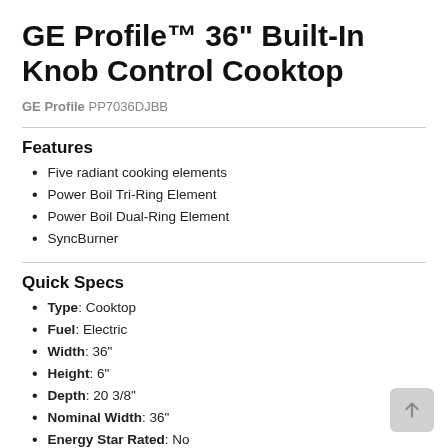GE Profile™ 36" Built-In Knob Control Cooktop
GE Profile PP7036DJBB
Features
Five radiant cooking elements
Power Boil Tri-Ring Element
Power Boil Dual-Ring Element
SyncBurner
Quick Specs
Type: Cooktop
Fuel: Electric
Width: 36"
Height: 6"
Depth: 20 3/8"
Nominal Width: 36"
Energy Star Rated: No
Downdraft Ventilation: No